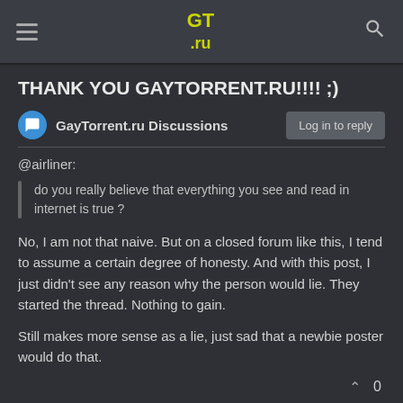GT.ru
THANK YOU GAYTORRENT.RU!!!! ;)
GayTorrent.ru Discussions
@airliner:
do you really believe that everything you see and read in internet is true ?
No, I am not that naive.  But on a closed forum like this, I tend to assume a certain degree of honesty.  And with this post, I just didn't see any reason why the person would lie.  They started the thread.  Nothing to gain.
Still makes more sense as a lie, just sad that a newbie poster would do that.